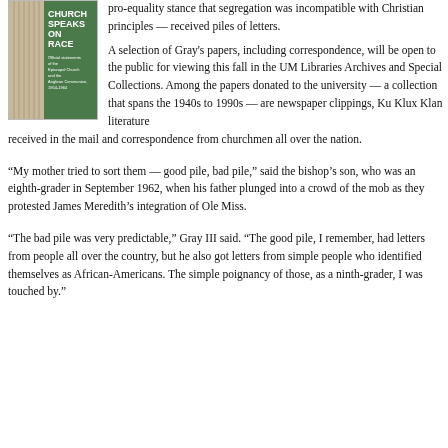[Figure (illustration): Book cover of 'The Church Speaks on Race' with green and tan vertical stripe design, showing official statements of the Episcopal Church and the Anglican Communion, 1954-1964]
pro-equality stance that segregation was incompatible with Christian principles — received piles of letters.
A selection of Gray's papers, including correspondence, will be open to the public for viewing this fall in the UM Libraries Archives and Special Collections. Among the papers donated to the university — a collection that spans the 1940s to 1990s — are newspaper clippings, Ku Klux Klan literature received in the mail and correspondence from churchmen all over the nation.
“My mother tried to sort them — good pile, bad pile,” said the bishop’s son, who was an eighth-grader in September 1962, when his father plunged into a crowd of the mob as they protested James Meredith’s integration of Ole Miss.
“The bad pile was very predictable,” Gray III said. “The good pile, I remember, had letters from people all over the country, but he also got letters from simple people who identified themselves as African-Americans. The simple poignancy of those, as a ninth-grader, I was touched by.”